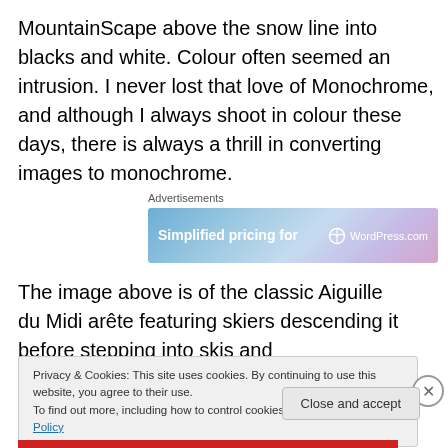MountainScape above the snow line into blacks and white. Colour often seemed an intrusion. I never lost that love of Monochrome, and although I always shoot in colour these days, there is always a thrill in converting images to monochrome.
Advertisements
[Figure (screenshot): Advertisement banner: 'Simplified pricing for' with WordPress.com logo]
The image above is of the classic Aiguille du Midi arête featuring skiers descending it before stepping into skis and
Privacy & Cookies: This site uses cookies. By continuing to use this website, you agree to their use.
To find out more, including how to control cookies, see here: Cookie Policy
Close and accept